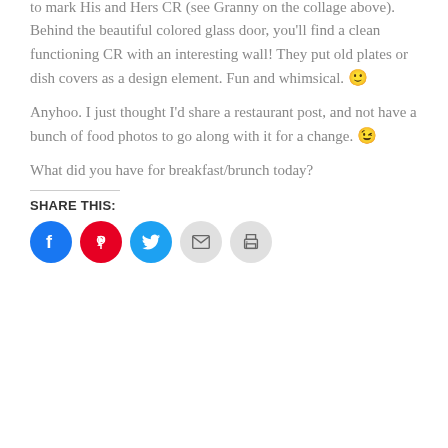to mark His and Hers CR (see Granny on the collage above). Behind the beautiful colored glass door, you'll find a clean functioning CR with an interesting wall! They put old plates or dish covers as a design element. Fun and whimsical. 😊
Anyhoo. I just thought I'd share a restaurant post, and not have a bunch of food photos to go along with it for a change. 😉
What did you have for breakfast/brunch today?
SHARE THIS: